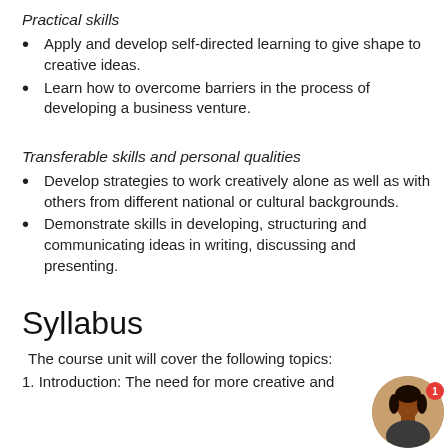Practical skills
Apply and develop self-directed learning to give shape to creative ideas.
Learn how to overcome barriers in the process of developing a business venture.
Transferable skills and personal qualities
Develop strategies to work creatively alone as well as with others from different national or cultural backgrounds.
Demonstrate skills in developing, structuring and communicating ideas in writing, discussing and presenting.
Syllabus
The course unit will cover the following topics:
1. Introduction: The need for more creative and